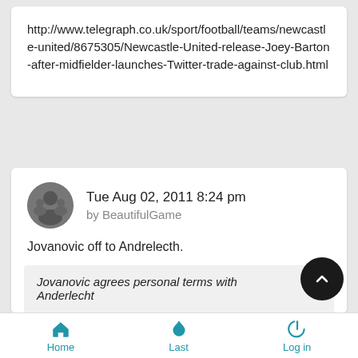http://www.telegraph.co.uk/sport/football/teams/newcastle-united/8675305/Newcastle-United-release-Joey-Barton-after-midfielder-launches-Twitter-trade-against-club.html
Tue Aug 02, 2011 8:24 pm
by BeautifulGame
Jovanovic off to Andrelecth.
Jovanovic agrees personal terms with Anderlecht
Anderlecht manager Herman Van Holsbeeck will fly to Liverpool today to seal the Milan Jovanovic deal. The
Home  Last  Log in